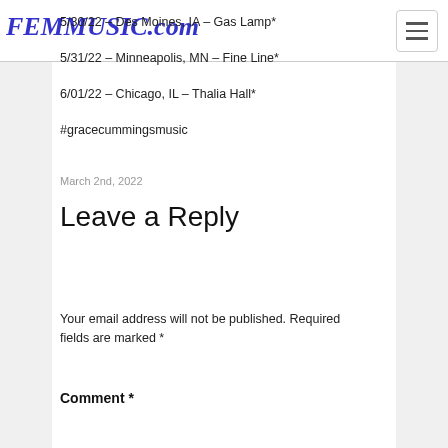FEMMUSIC.com
5/30/22 – Des Moines, IA – Gas Lamp*
5/31/22 – Minneapolis, MN – Fine Line*
6/01/22 – Chicago, IL – Thalia Hall*
#gracecummingsmusic
March 2nd, 2022
Leave a Reply
Your email address will not be published. Required fields are marked *
Comment *